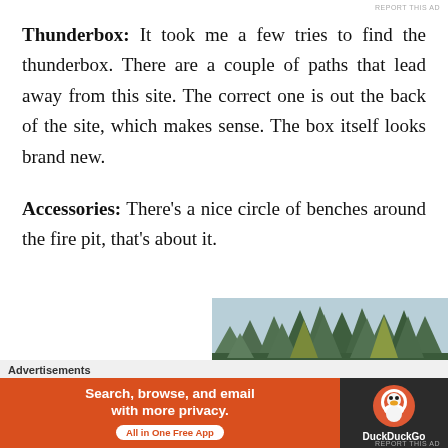REPORT THIS AD
Thunderbox: It took me a few tries to find the thunderbox. There are a couple of paths that lead away from this site. The correct one is out the back of the site, which makes sense. The box itself looks brand new.
Accessories: There’s a nice circle of benches around the fire pit, that’s about it.
[Figure (photo): Photo of evergreen/pine trees against a light blue sky, shot from below looking up at the treeline.]
Advertisements
[Figure (infographic): DuckDuckGo advertisement banner: orange left panel reading 'Search, browse, and email with more privacy. All in One Free App' and dark right panel with DuckDuckGo logo and name.]
REPORT THIS AD